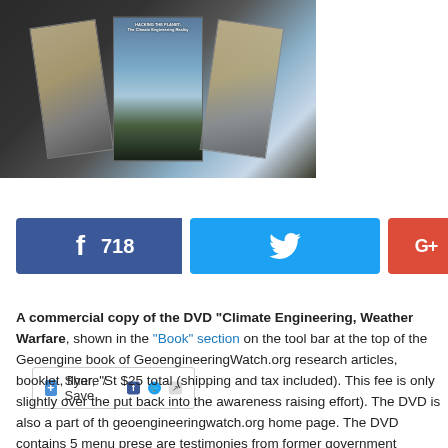[Figure (photo): Three DVD cases for 'Hacking the Planet: The Climate Engineering Reality' displayed on a dark surface, fanned out showing front and side covers.]
[Figure (infographic): Share / Save social sharing bar with +, Facebook, Twitter, and share icons]
[Figure (infographic): Social media share buttons: Facebook (718 shares, blue), Twitter (blue bird), Google+ (red)]
A commercial copy of the DVD "Climate Engineering, Weather Warfare, shown in the "Book" section on the tool bar at the top of the Geoengine book of GeoengineeringWatch.org research articles, booklet, flyer, "St $25 total (shipping and tax included). This fee is only slightly over the put back into the awareness raising effort). The DVD is also a part of th geoengineeringwatch.org home page. The DVD contains 5 menu prese are testimonies from former government scientists, form Follow d